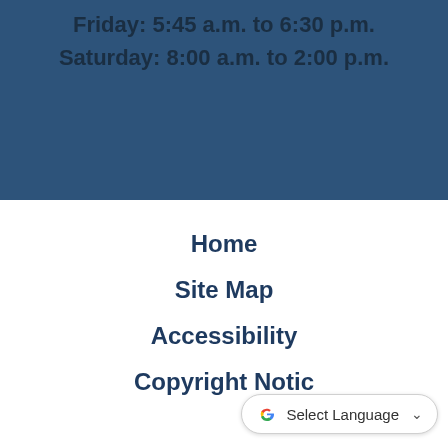Friday: 5:45 a.m. to 6:30 p.m.
Saturday: 8:00 a.m. to 2:00 p.m.
Home
Site Map
Accessibility
Copyright Notice
[Figure (other): Google Translate Select Language widget button in bottom-right corner]